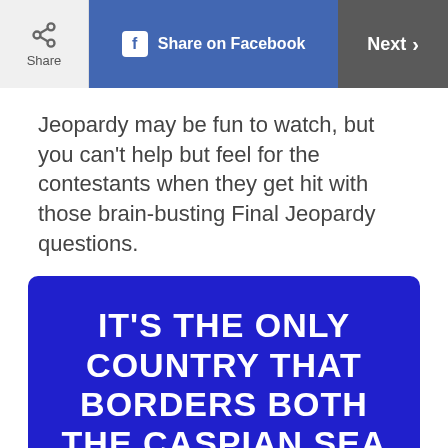Share | Share on Facebook | Next >
Jeopardy may be fun to watch, but you can't help but feel for the contestants when they get hit with those brain-busting Final Jeopardy questions.
[Figure (other): Blue Jeopardy-style card with white bold text reading: IT'S THE ONLY COUNTRY THAT BORDERS BOTH THE CASPIAN SEA AND THE PERSIAN GULF.]